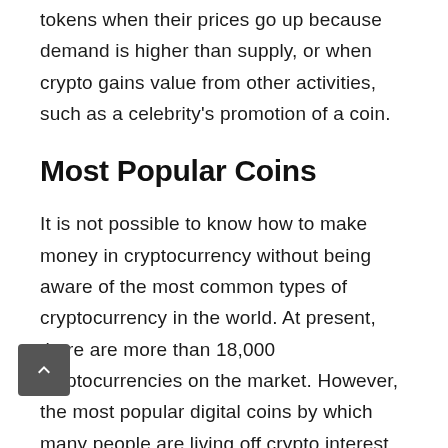tokens when their prices go up because demand is higher than supply, or when crypto gains value from other activities, such as a celebrity's promotion of a coin.
Most Popular Coins
It is not possible to know how to make money in cryptocurrency without being aware of the most common types of cryptocurrency in the world. At present, there are more than 18,000 cryptocurrencies on the market. However, the most popular digital coins by which many people are living off crypto interest